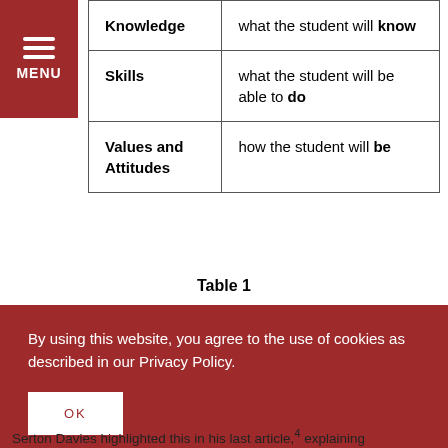| Knowledge | what the student will know |
| Skills | what the student will be able to do |
| Values and Attitudes | how the student will be |
Table 1
By using this website, you agree to the use of cookies as described in our Privacy Policy.
Serton Davies highlighted this in his last article,4 explaining